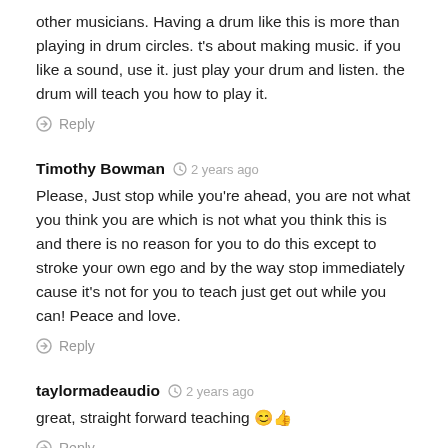other musicians. Having a drum like this is more than playing in drum circles. t's about making music. if you like a sound, use it. just play your drum and listen. the drum will teach you how to play it.
Reply
Timothy Bowman · 2 years ago
Please, Just stop while you're ahead, you are not what you think you are which is not what you think this is and there is no reason for you to do this except to stroke your own ego and by the way stop immediately cause it's not for you to teach just get out while you can! Peace and love.
Reply
taylormadeaudio · 2 years ago
great, straight forward teaching 😊👍
Reply